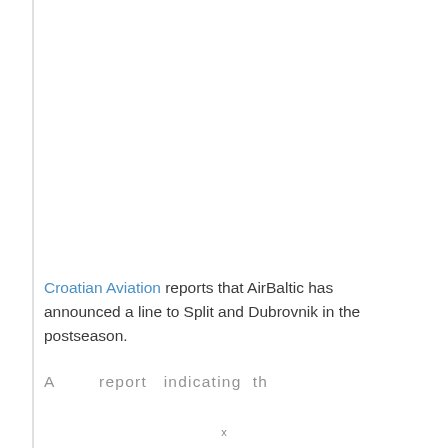Croatian Aviation reports that AirBaltic has announced a line to Split and Dubrovnik in the postseason.
A report indicating that ... (partial, cut off)
x